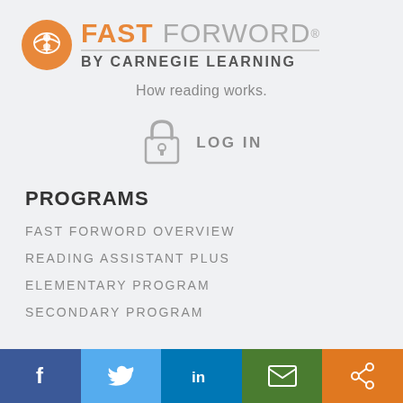[Figure (logo): Fast ForWord by Carnegie Learning logo with orange circle icon containing a book/reader symbol, orange FAST and gray FORWORD text with registered trademark, gray divider line, and bold gray BY CARNEGIE LEARNING text]
How reading works.
[Figure (illustration): Gray padlock icon with keyhole]
LOG IN
PROGRAMS
FAST FORWORD OVERVIEW
READING ASSISTANT PLUS
ELEMENTARY PROGRAM
SECONDARY PROGRAM
[Figure (infographic): Social media sharing footer bar with five colored buttons: Facebook (dark blue, f), Twitter (light blue, bird), LinkedIn (blue, in), Email (green, envelope), Share (orange, share icon)]